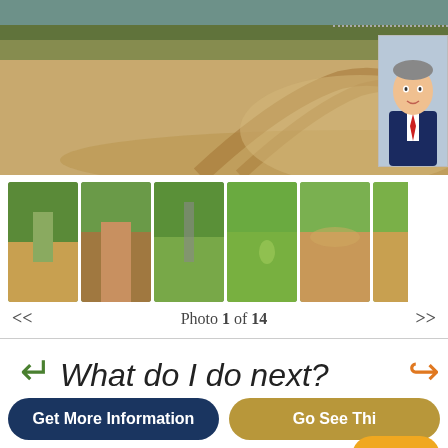[Figure (photo): Main photo of a dirt driveway with tire tracks through sandy/dirt ground and trees in background]
[Figure (photo): Real estate agent headshot portrait in suit and tie]
[Figure (photo): Row of 6 thumbnail photos showing wooded/forested land parcels and driveways]
<< Photo 1 of 14 >>
[Figure (infographic): What do I do next? text with circular arrows graphic]
Get More Information
Go See Thi[s Property]
Build your custom home here! The driveway & house pa[d are in] your custom home can be built! Majestically treed 5 acre[s] 5 minute drive to Hwy 50! The well is in with electricity & the good life with local views! Come Check it out anytime.
www.rogerbutcher.com uses cookies to ensure the best exp[erience]
Learn More
Ok
Privacy - Terms